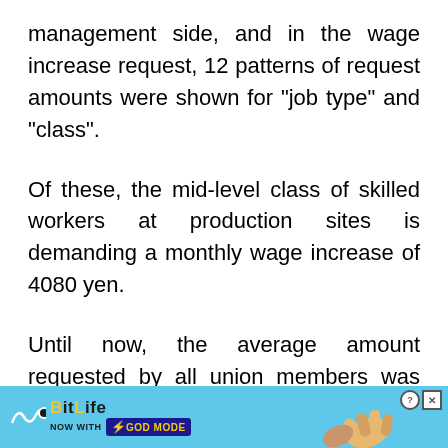management side, and in the wage increase request, 12 patterns of request amounts were shown for "job type" and "class".
Of these, the mid-level class of skilled workers at production sites is demanding a monthly wage increase of 4080 yen.
Until now, the average amount requested by all union members was presented, but this is a major shift from this method.
[Figure (screenshot): BitLife advertisement banner with 'NOW WITH GOD MODE' text and hand illustration, with Close X button and corner icons]